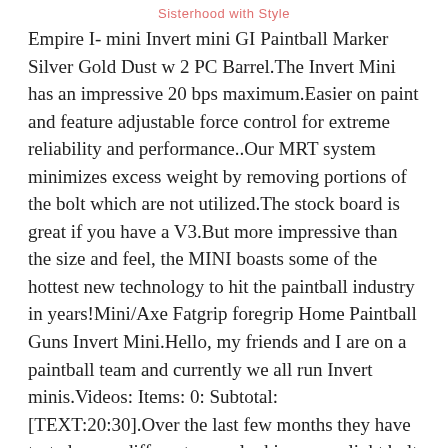Sisterhood with Style
Empire I- mini Invert mini GI Paintball Marker Silver Gold Dust w 2 PC Barrel.The Invert Mini has an impressive 20 bps maximum.Easier on paint and feature adjustable force control for extreme reliability and performance..Our MRT system minimizes excess weight by removing portions of the bolt which are not utilized.The stock board is great if you have a V3.But more impressive than the size and feel, the MINI boasts some of the hottest new technology to hit the paintball industry in years!Mini/Axe Fatgrip foregrip Home Paintball Guns Invert Mini.Hello, my friends and I are on a paintball team and currently we all run Invert minis.Videos: Items: 0: Subtotal: [TEXT:20:30].Over the last few months they have tested many different crazy looking super light bolt designs and had mixed results.Hello, my friends and I are on a paintball team and currently they all run Invert minis.